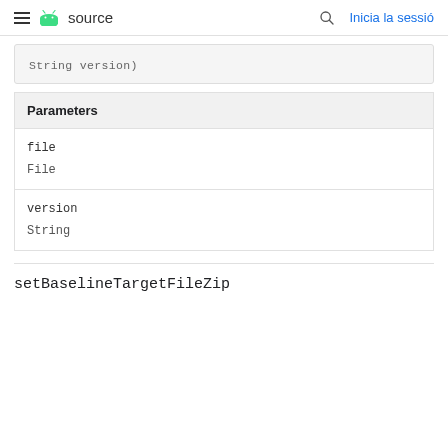≡ android source   🔍 Inicia la sessió
String version)
| Parameters |
| --- |
| file | File |
| version | String |
setBaselineTargetFileZip